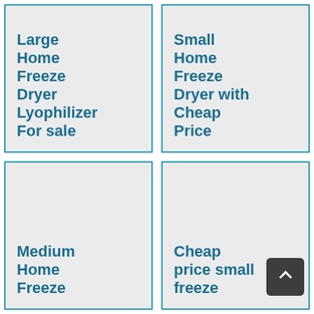Large Home Freeze Dryer Lyophilizer For sale
Small Home Freeze Dryer with Cheap Price
Medium Home Freeze…
Cheap price small freeze…
[Figure (other): Back-to-top button overlay with upward chevron arrow, dark gray background]